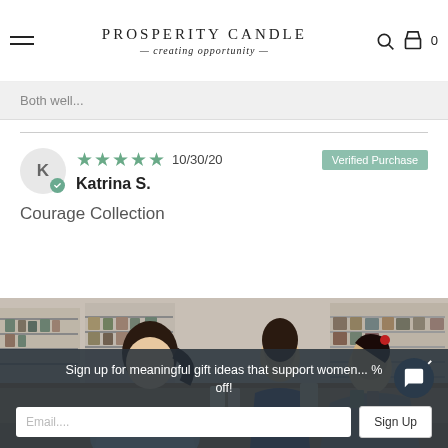PROSPERITY CANDLE — creating opportunity —
Both well...
5 stars  10/30/20  Verified Purchase
Katrina S.
Courage Collection
[Figure (photo): Three women working in a candle workshop with shelves of products in the background. One woman in a light blue shirt stands in the foreground, another in a blue apron works in the background, and a third woman in a grey shirt leans over a table.]
Sign up for meaningful gift ideas that support women... % off!